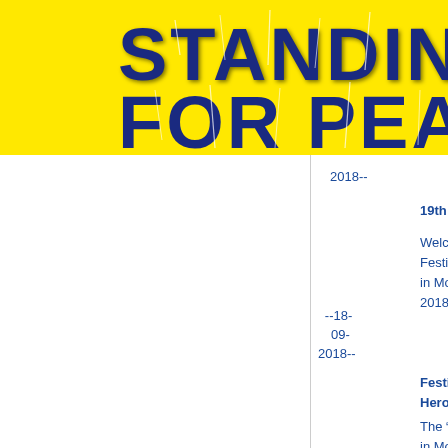[Figure (illustration): Yellow banner with large bold dark blue cracked/lightning-texture text reading 'STANDING FOR PEA' (partially cut off, likely 'PEACE') on a bright yellow background]
2018--
19th International Balloon F
Welcome to the a Festival at the Expoc in Moscow at the e 2018.
--18-09-2018--
Festival "Mythological Divi Hero"
The “New Acropo in Moscow is hosting a